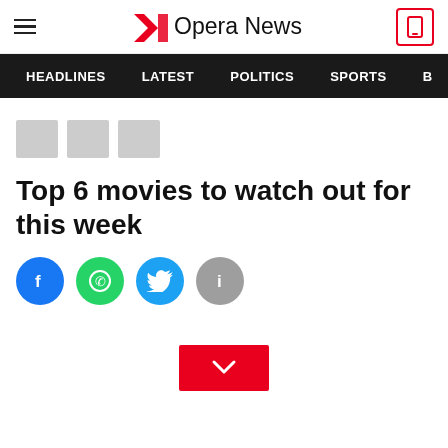Opera News
HEADLINES   LATEST   POLITICS   SPORTS   B
Top 6 movies to watch out for this week
[Figure (infographic): Social sharing icons: Facebook (blue), WhatsApp (green), Twitter (blue), Info (grey)]
[Figure (infographic): Red download/expand chevron button]